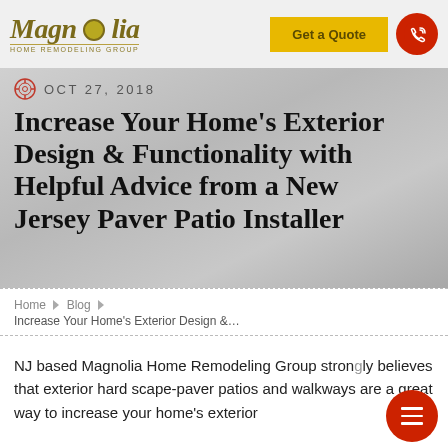Magnolia Home Remodeling Group — Get a Quote
OCT 27, 2018
Increase Your Home's Exterior Design & Functionality with Helpful Advice from a New Jersey Paver Patio Installer
Home ▶ Blog ▶ Increase Your Home's Exterior Design &…
NJ based Magnolia Home Remodeling Group strongly believes that exterior hard scape-paver patios and walkways are a great way to increase your home's exterior